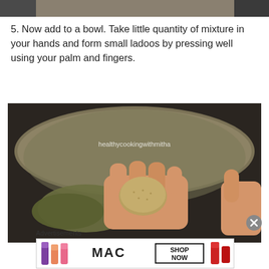[Figure (photo): Top portion of a previous food photo, partially cropped at top of page]
5. Now add to a bowl. Take little quantity of mixture in your hands and form small ladoos by pressing well using your palm and fingers.
[Figure (photo): A hand pressing a ball of green mixture (ladoo) in a metal bowl, with watermark text 'healthycookingwithmitha']
Advertisements
[Figure (photo): MAC cosmetics advertisement showing lipsticks and SHOP NOW text]